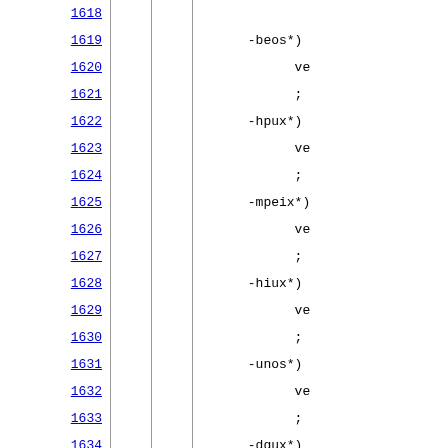Source code listing with line numbers 1618-1640, showing shell script case statements for OS detection patterns: -beos*, -hpux*, -mpeix*, -hiux*, -unos*, -dgux*, -luna*, -genix*